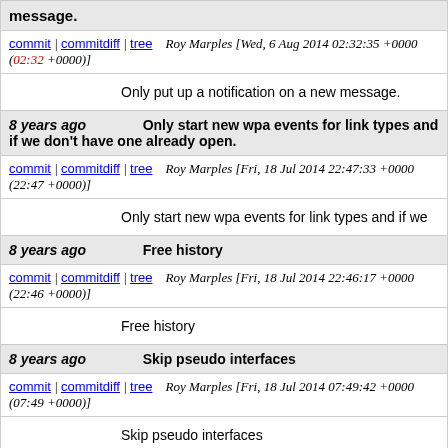message.
commit | commitdiff | tree   Roy Marples [Wed, 6 Aug 2014 02:32:35 +0000 (02:32 +0000)]
Only put up a notification on a new message.
8 years ago   Only start new wpa events for link types and if we don't have one already open.
commit | commitdiff | tree   Roy Marples [Fri, 18 Jul 2014 22:47:33 +0000 (22:47 +0000)]
Only start new wpa events for link types and if we
8 years ago   Free history
commit | commitdiff | tree   Roy Marples [Fri, 18 Jul 2014 22:46:17 +0000 (22:46 +0000)]
Free history
8 years ago   Skip pseudo interfaces
commit | commitdiff | tree   Roy Marples [Fri, 18 Jul 2014 07:49:42 +0000 (07:49 +0000)]
Skip pseudo interfaces